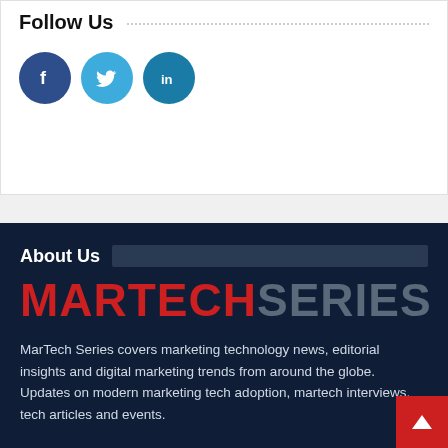Follow Us
[Figure (illustration): Three social media icons: Facebook (dark blue circle with 'f'), Twitter (light blue circle with bird icon), LinkedIn (teal circle with 'in')]
About Us
[Figure (logo): MartechSeries logo: 'MARTECH' in red bold capital letters, 'SERIES' in gray bold capital letters]
MarTech Series covers marketing technology news, editorial insights and digital marketing trends from around the globe. Updates on modern marketing tech adoption, martech interviews, tech articles and events.